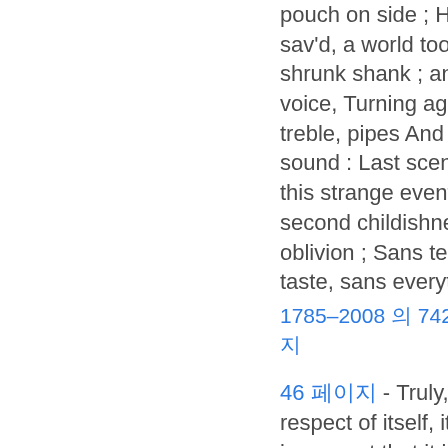pouch on side ; His youthful hose well sav'd, a world too wide . For his shrunk shank ; and his big manly voice, Turning again toward childish treble, pipes And whistles in his sound : Last scene of all, That ends this strange eventful history, Is second childishness, and mere oblivion ; Sans teeth, sans eyes, sans taste, sans everything.
1785–2008 의 742 페이지에서페이지까지
46 페이지 - Truly, shepherd, in respect of itself, it is a good life ; but in respect that it is a shepherd's life, it is naught. In